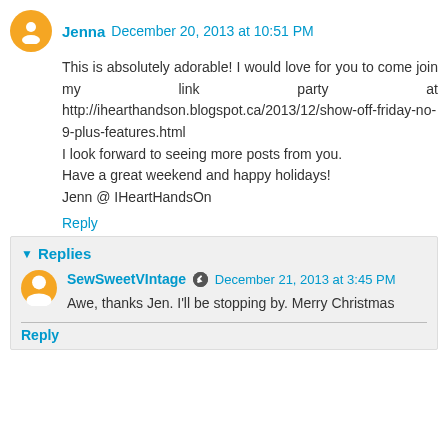Jenna December 20, 2013 at 10:51 PM
This is absolutely adorable! I would love for you to come join my link party at http://ihearthandson.blogspot.ca/2013/12/show-off-friday-no-9-plus-features.html
I look forward to seeing more posts from you.
Have a great weekend and happy holidays!
Jenn @ IHeartHandsOn
Reply
Replies
SewSweetVIntage December 21, 2013 at 3:45 PM
Awe, thanks Jen. I'll be stopping by. Merry Christmas
Reply